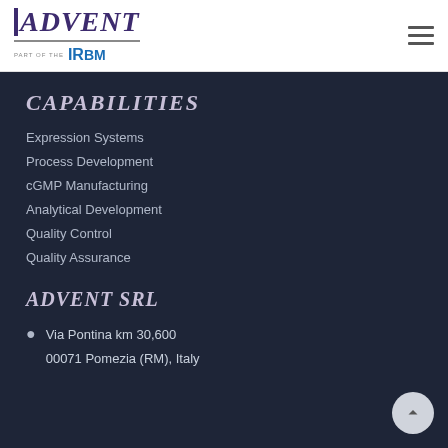[Figure (logo): ADVENT logo with 'PART OF THE IRBM' subtext, and hamburger menu icon on the right]
CAPABILITIES
Expression Systems
Process Development
cGMP Manufacturing
Analytical Development
Quality Control
Quality Assurance
ADVENT SRL
Via Pontina km 30,600
00071 Pomezia (RM), Italy